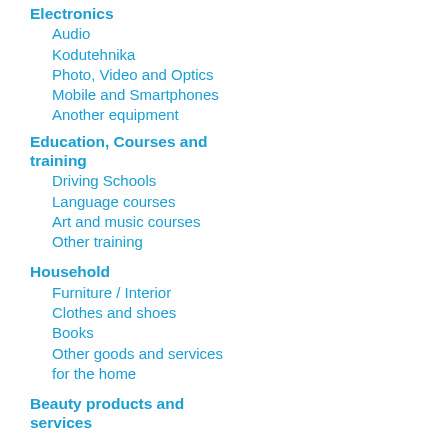Electronics
Audio
Kodutehnika
Photo, Video and Optics
Mobile and Smartphones
Another equipment
Education, Courses and training
Driving Schools
Language courses
Art and music courses
Other training
Household
Furniture / Interior
Clothes and shoes
Books
Other goods and services for the home
Beauty products and services
Pets